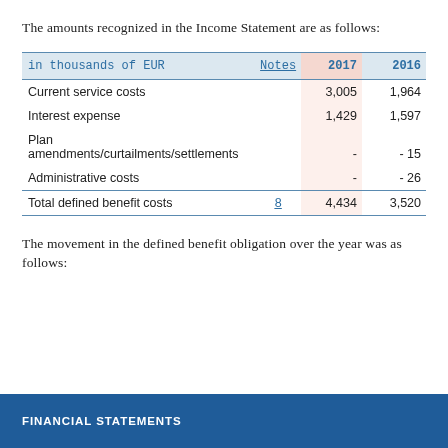The amounts recognized in the Income Statement are as follows:
| in thousands of EUR | Notes | 2017 | 2016 |
| --- | --- | --- | --- |
| Current service costs |  | 3,005 | 1,964 |
| Interest expense |  | 1,429 | 1,597 |
| Plan amendments/curtailments/settlements |  | - | - 15 |
| Administrative costs |  | - | - 26 |
| Total defined benefit costs | 8 | 4,434 | 3,520 |
The movement in the defined benefit obligation over the year was as follows:
FINANCIAL STATEMENTS